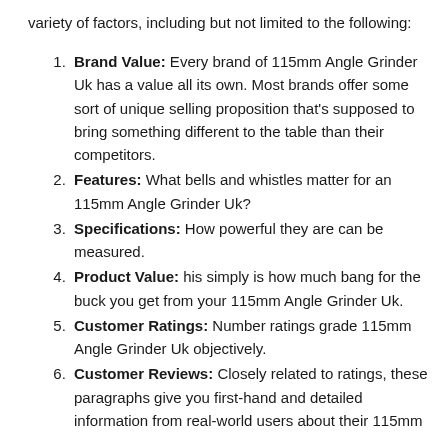variety of factors, including but not limited to the following:
Brand Value: Every brand of 115mm Angle Grinder Uk has a value all its own. Most brands offer some sort of unique selling proposition that's supposed to bring something different to the table than their competitors.
Features: What bells and whistles matter for an 115mm Angle Grinder Uk?
Specifications: How powerful they are can be measured.
Product Value: his simply is how much bang for the buck you get from your 115mm Angle Grinder Uk.
Customer Ratings: Number ratings grade 115mm Angle Grinder Uk objectively.
Customer Reviews: Closely related to ratings, these paragraphs give you first-hand and detailed information from real-world users about their 115mm